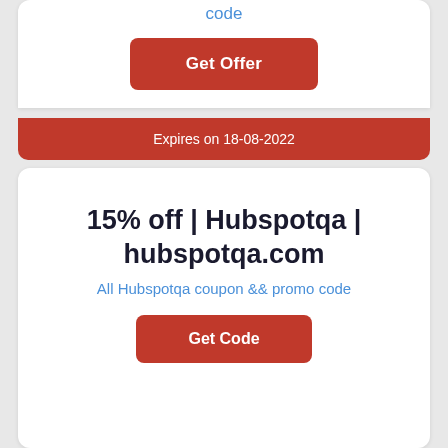code
Get Offer
Expires on 18-08-2022
15% off | Hubspotqa | hubspotqa.com
All Hubspotqa coupon && promo code
Get Code